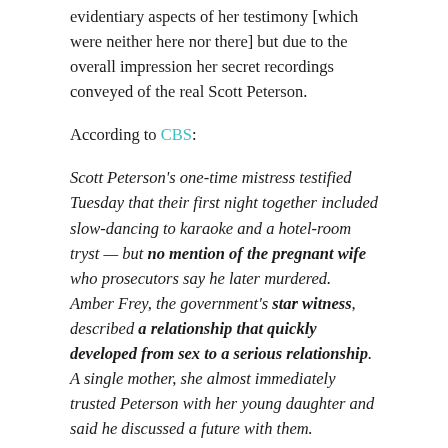evidentiary aspects of her testimony [which were neither here nor there] but due to the overall impression her secret recordings conveyed of the real Scott Peterson.
According to CBS:
Scott Peterson's one-time mistress testified Tuesday that their first night together included slow-dancing to karaoke and a hotel-room tryst — but no mention of the pregnant wife who prosecutors say he later murdered. Amber Frey, the government's star witness, described a relationship that quickly developed from sex to a serious relationship. A single mother, she almost immediately trusted Peterson with her young daughter and said he discussed a future with them.
One of the popular and enduring myths of the Peterson case, and it's gaining rapid traction in the Watts case now as well, is the idea that these men wanted their